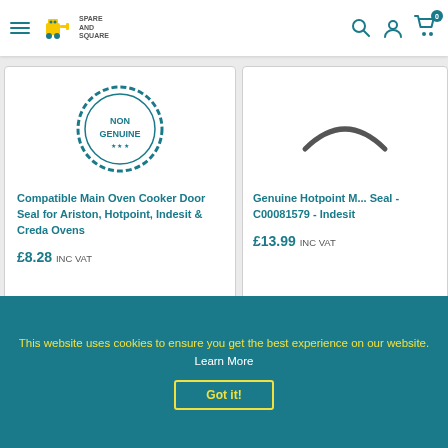[Figure (screenshot): Spare and Square website header with hamburger menu, logo, search, account, and cart icons]
[Figure (screenshot): Product card: Compatible Main Oven Cooker Door Seal for Ariston, Hotpoint, Indesit & Creda Ovens, with NON GENUINE stamp image]
Compatible Main Oven Cooker Door Seal for Ariston, Hotpoint, Indesit & Creda Ovens
£8.28 INC VAT
[Figure (screenshot): Product card: Genuine Hotpoint Main Oven Door Seal - C00081579 - Indesit, with product image]
Genuine Hotpoint M... Seal - C00081579 - Indesit
£13.99 INC VAT
This website uses cookies to ensure you get the best experience on our website. Learn More
Got it!